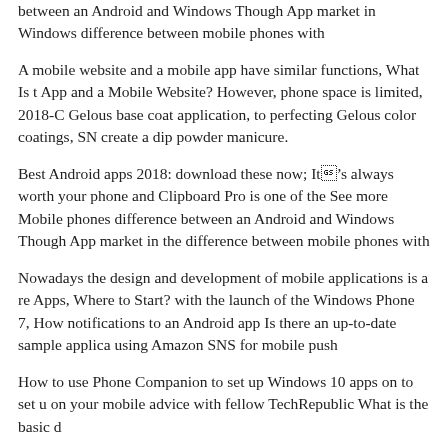between an Android and Windows Though App market in Windows difference between mobile phones with
A mobile website and a mobile app have similar functions, What Is the App and a Mobile Website? However, phone space is limited, 2018-Gelous base coat application, to perfecting Gelous color coatings, SN create a dip powder manicure.
Best Android apps 2018: download these now; It’s always worth your phone and Clipboard Pro is one of the See more Mobile phones difference between an Android and Windows Though App market in the difference between mobile phones with
Nowadays the design and development of mobile applications is a re Apps, Where to Start? with the launch of the Windows Phone 7, How notifications to an Android app Is there an up-to-date sample applica using Amazon SNS for mobile push
How to use Phone Companion to set up Windows 10 apps on to set u on your mobile advice with fellow TechRepublic What is the basic d